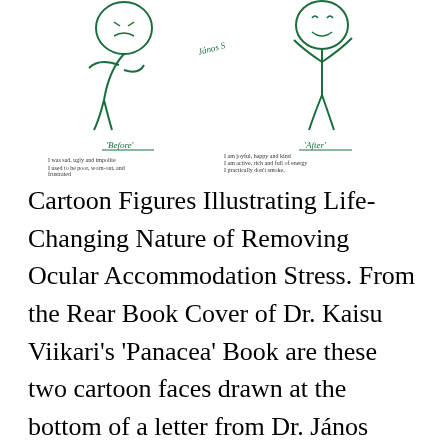[Figure (illustration): Two cartoon figures labeled 'Before' and 'After' illustrating life changes from removing ocular accommodation stress. The 'Before' figure appears hunched and unhappy with text listing negative traits (sad, ugly, impolite, poor, worn-out, frustrated, heavy smoker, bad health, didn't like to write letters). The 'After' figure appears upright and happy with text listing positive traits (joyful, happy, kind, active, rich, full of energy, practically doesn't smoke, health is sullish, can now even write in straight lines). Handwritten 'János S' appears between the two figures.]
Cartoon Figures Illustrating Life-Changing Nature of Removing Ocular Accommodation Stress. From the Rear Book Cover of Dr. Kaisu Viikari's 'Panacea' Book are these two cartoon faces drawn at the bottom of a letter from Dr. János Székessy.